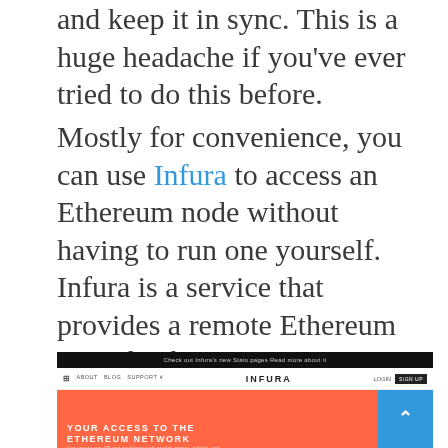and keep it in sync. This is a huge headache if you've ever tried to do this before.
Mostly for convenience, you can use Infura to access an Ethereum node without having to run one yourself. Infura is a service that provides a remote Ethereum node for free. All you need to do is sign up and obtain an API key and the RPC URL for the network you want to connect to.
[Figure (screenshot): Screenshot of the Infura website homepage showing a black top bar with a notice, a white navigation bar with the INFURA logo, nav links, login and sign up buttons, and a coral/orange main section with the text 'YOUR ACCESS TO THE ETHEREUM NETWORK' and a blue scroll-up button on the right.]